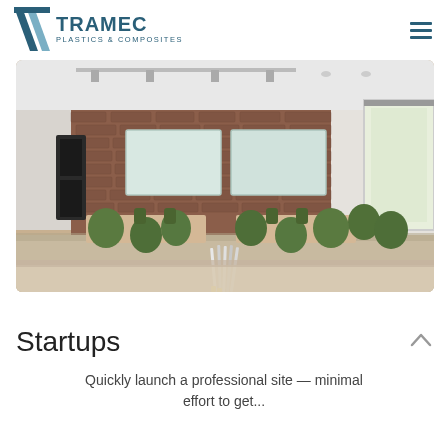TRAMEC PLASTICS & COMPOSITES
[Figure (photo): Office meeting room with green chairs, wooden tables, whiteboards on exposed brick wall, track lighting on white ceiling, large window on right side, pencils in foreground]
Startups
Quickly launch a professional site — minimal effort to get...